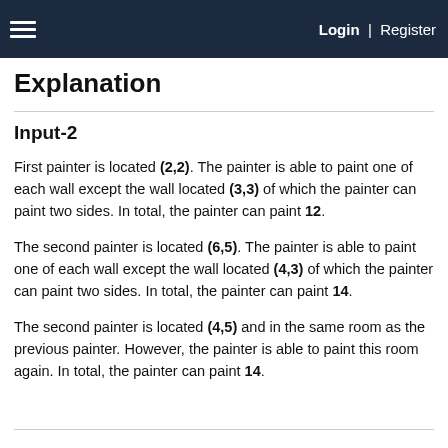Login | Register
Explanation
Input-2
First painter is located (2,2). The painter is able to paint one of each wall except the wall located (3,3) of which the painter can paint two sides. In total, the painter can paint 12.
The second painter is located (6,5). The painter is able to paint one of each wall except the wall located (4,3) of which the painter can paint two sides. In total, the painter can paint 14.
The second painter is located (4,5) and in the same room as the previous painter. However, the painter is able to paint this room again. In total, the painter can paint 14.